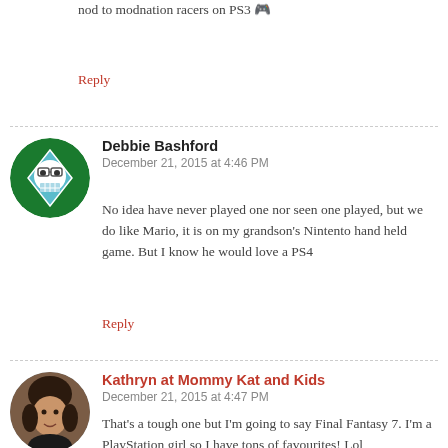Logo. These games are great. Special nod to modnation racers on PS3 🎮
Reply
Debbie Bashford
December 21, 2015 at 4:46 PM
No idea have never played one nor seen one played, but we do like Mario, it is on my grandson's Nintento hand held game. But I know he would love a PS4
Reply
Kathryn at Mommy Kat and Kids
December 21, 2015 at 4:47 PM
That's a tough one but I'm going to say Final Fantasy 7. I'm a PlayStation girl so I have tons of favourites! Lol